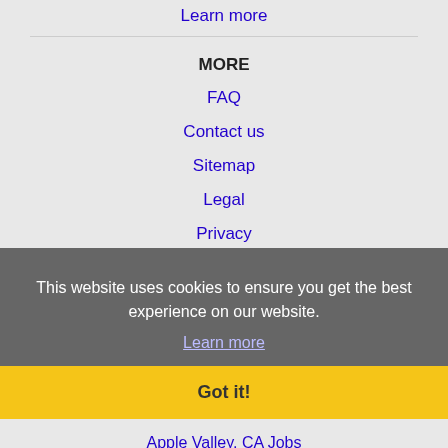Learn more
MORE
FAQ
Contact us
Sitemap
Legal
Privacy
This website uses cookies to ensure you get the best experience on our website.
Learn more
Got it!
JOBS BY CITY
Alhambra, CA Jobs
Altadena, CA Jobs
Anaheim, CA Jobs
Apple Valley, CA Jobs
Arcadia, CA Jobs